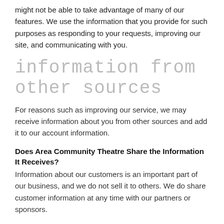might not be able to take advantage of many of our features. We use the information that you provide for such purposes as responding to your requests, improving our site, and communicating with you.
information from other sources
For reasons such as improving our service, we may receive information about you from other sources and add it to our account information.
Does Area Community Theatre Share the Information It Receives?
Information about our customers is an important part of our business, and we do not sell it to others. We do share customer information at any time with our partners or sponsors.